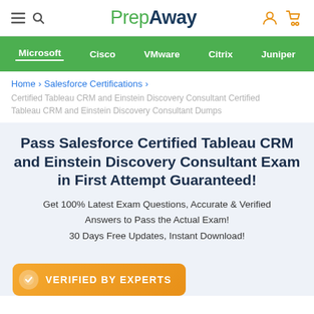PrepAway
Microsoft  Cisco  VMware  Citrix  Juniper
Home > Salesforce Certifications >
Certified Tableau CRM and Einstein Discovery Consultant Certified Tableau CRM and Einstein Discovery Consultant Dumps
Pass Salesforce Certified Tableau CRM and Einstein Discovery Consultant Exam in First Attempt Guaranteed!
Get 100% Latest Exam Questions, Accurate & Verified Answers to Pass the Actual Exam!
30 Days Free Updates, Instant Download!
VERIFIED BY EXPERTS